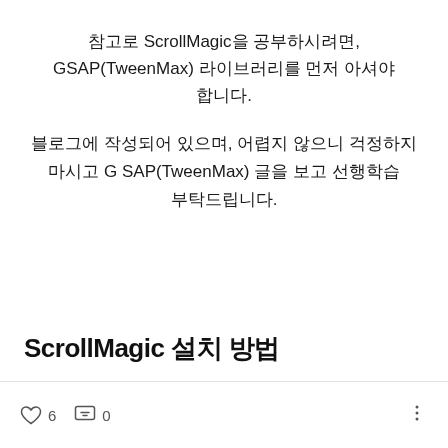참고로 ScrollMagic을 공부하시려면, GSAP(TweenMax) 라이브러리를 먼저 아셔야 합니다.
블로그에 작성되어 있으며, 어렵지 않으니 걱정하지 마시고 GSAP(TweenMax) 글을 보고 선행학습 부탁드립니다.
ScrollMagic 설치 방법
♡ 6   💬 0   ⋮